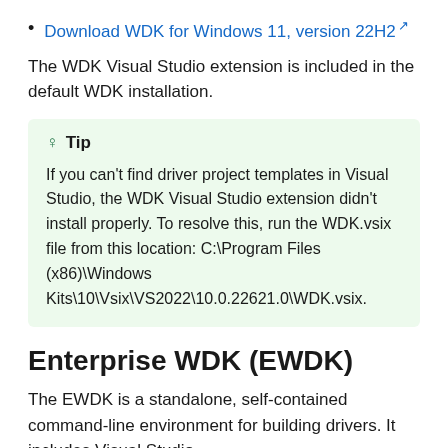Download WDK for Windows 11, version 22H2
The WDK Visual Studio extension is included in the default WDK installation.
Tip
If you can't find driver project templates in Visual Studio, the WDK Visual Studio extension didn't install properly. To resolve this, run the WDK.vsix file from this location: C:\Program Files (x86)\Windows Kits\10\Vsix\VS2022\10.0.22621.0\WDK.vsix.
Enterprise WDK (EWDK)
The EWDK is a standalone, self-contained command-line environment for building drivers. It includes Visual Studio